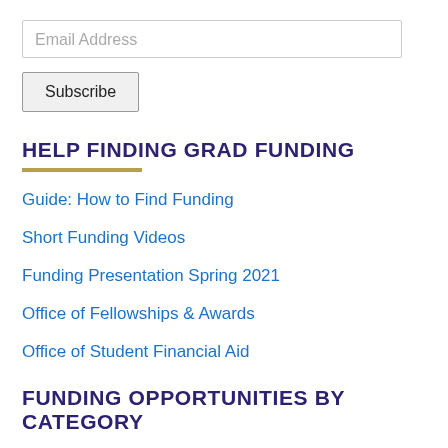[Figure (other): Email Address input field (text box)]
[Figure (other): Subscribe button]
HELP FINDING GRAD FUNDING
Guide: How to Find Funding
Short Funding Videos
Funding Presentation Spring 2021
Office of Fellowships & Awards
Office of Student Financial Aid
FUNDING OPPORTUNITIES BY CATEGORY